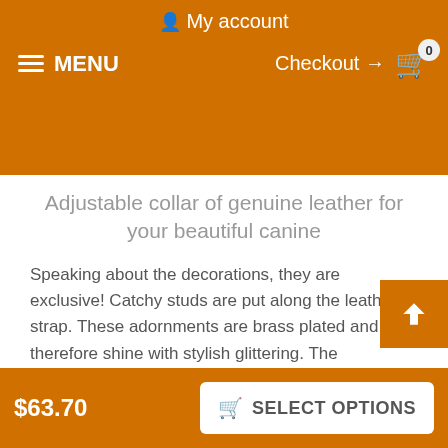My account
≡ MENU    Checkout → 🛒 0
Adjustable collar of genuine leather for your beautiful canine
Speaking about the decorations, they are exclusive! Catchy studs are put along the leather strap. These adornments are brass plated and, therefore shine with stylish glittering. The decorated design of this tool is unmatched and unique. Due to these decorations, this genuine leather dog collar has a spark. That means your dog will have his individual and exquisite style .
Click on the pictures to see bigger image
$63.70    SELECT OPTIONS